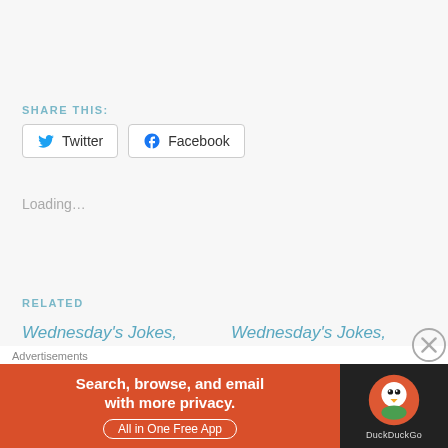SHARE THIS:
[Figure (other): Social share buttons: Twitter and Facebook]
Loading…
RELATED
Wednesday's Jokes, Quotes, Quizzlers and Teasers…
Wednesday's Jokes, Quotes, Quizzlers and Teasers…
Advertisements
[Figure (infographic): DuckDuckGo advertisement banner: Search, browse, and email with more privacy. All in One Free App]